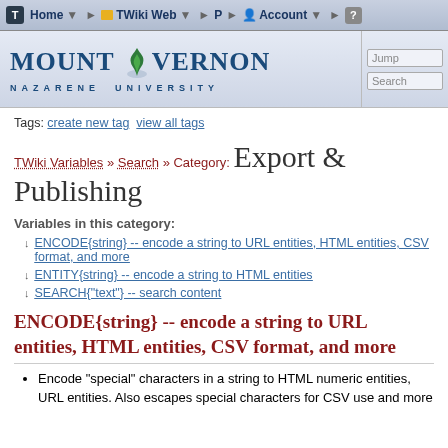T | Home | TWiki Web | P | Account | ?
[Figure (logo): Mount Vernon Nazarene University logo with flame icon, Jump and Search boxes]
Tags: create new tag  view all tags
TWiki Variables » Search » Category: Export & Publishing
Variables in this category:
↓ ENCODE{string} -- encode a string to URL entities, HTML entities, CSV format, and more
↓ ENTITY{string} -- encode a string to HTML entities
↓ SEARCH{"text"} -- search content
ENCODE{string} -- encode a string to URL entities, HTML entities, CSV format, and more
Encode "special" characters in a string to HTML numeric entities, URL entities. Also escapes special characters for CSV use and more